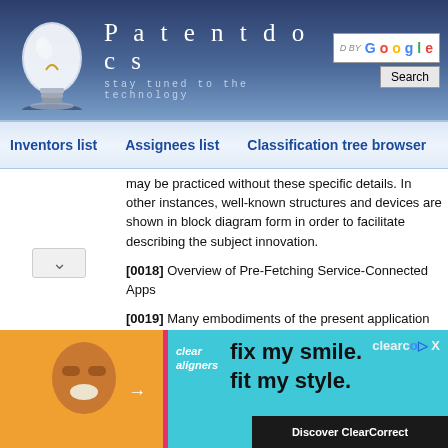Patentdocs — stay tuned to the technology
Inventors list | Assignees list | Classification tree browser
may be practiced without these specific details. In other instances, well-known structures and devices are shown in block diagram form in order to facilitate describing the subject innovation.
[0018] Overview of Pre-Fetching Service-Connected Apps
[0019] Many embodiments of the present application affect present systems, methods and/or techniques for service-backed applications to pre-fetch data for an improved user experience. In many embodiments, present systems allow any app that may typically fetch data from a server (e.g., using standard HTTP or other protocols) to be able to take advantage of this pre-fetching. In one embodiment, it may be desirable that apps that
[Figure (photo): Advertisement banner for ClearCorrect clear aligners showing a smiling person with text 'fix my smile. fit my style.' and 'Discover ClearCorrect']